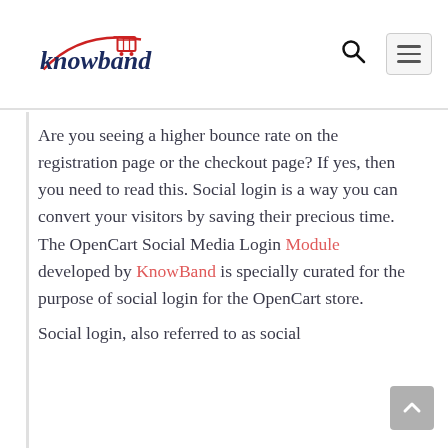Knowband
Are you seeing a higher bounce rate on the registration page or the checkout page? If yes, then you need to read this. Social login is a way you can convert your visitors by saving their precious time. The OpenCart Social Media Login Module developed by KnowBand is specially curated for the purpose of social login for the OpenCart store.
Social login, also referred to as social